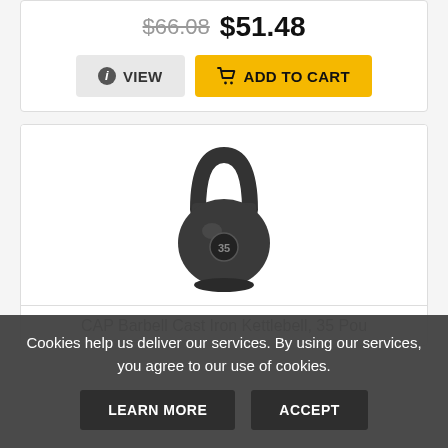$66.08 $51.48
VIEW   ADD TO CART
[Figure (photo): CAP Barbell Cast Iron Kettlebell, black, 35 pounds, shown from front]
CAP Barbell Cast Iron Kettlebell, 35 Pou
Cookies help us deliver our services. By using our services, you agree to our use of cookies.
LEARN MORE   ACCEPT